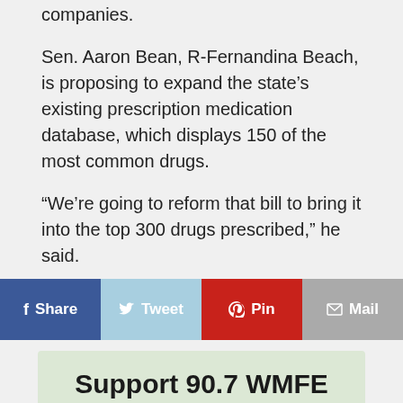companies.
Sen. Aaron Bean, R-Fernandina Beach, is proposing to expand the state's existing prescription medication database, which displays 150 of the most common drugs.
“We’re going to reform that bill to bring it into the top 300 drugs prescribed,” he said.
Myfloridarx.com also shows pharmacy locations along with prices.
[Figure (infographic): Social share bar with Facebook Share, Twitter Tweet, Pinterest Pin, and Mail buttons]
Support 90.7 WMFE